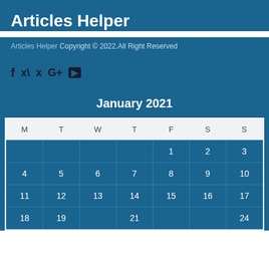Articles Helper
Articles Helper Copyright © 2022.All Right Reserved
[Figure (other): Social media icons: Facebook (f), Twitter (bird), Google+ (G+), YouTube (play button rectangle)]
January 2021
| M | T | W | T | F | S | S |
| --- | --- | --- | --- | --- | --- | --- |
|  |  |  |  | 1 | 2 | 3 |
| 4 | 5 | 6 | 7 | 8 | 9 | 10 |
| 11 | 12 | 13 | 14 | 15 | 16 | 17 |
| 18 | 19 |  | 21 |  |  | 24 |